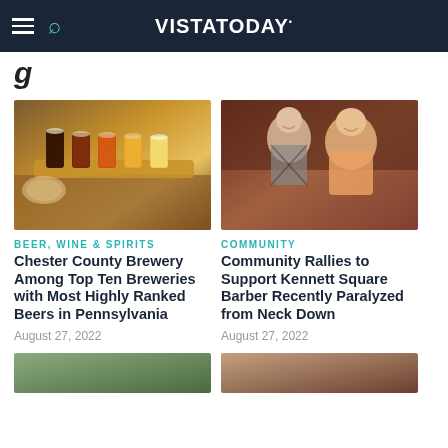VISTA.TODAY
g
[Figure (photo): Beer flight on a wooden paddle with several glasses of beer ranging from dark to amber to light, with food in background]
[Figure (photo): Couple smiling at the camera, woman in patterned dress and man in orange shirt, restaurant background]
BEER, WINE & SPIRITS
Chester County Brewery Among Top Ten Breweries with Most Highly Ranked Beers in Pennsylvania
August 27, 2022
COMMUNITY
Community Rallies to Support Kennett Square Barber Recently Paralyzed from Neck Down
August 27, 2022
[Figure (photo): Partial image at bottom left, cropped]
[Figure (photo): Partial image at bottom right, cropped]